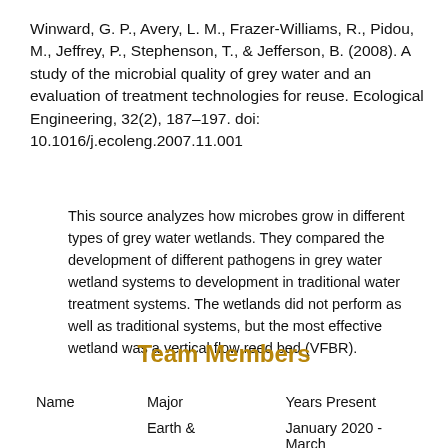Winward, G. P., Avery, L. M., Frazer-Williams, R., Pidou, M., Jeffrey, P., Stephenson, T., & Jefferson, B. (2008). A study of the microbial quality of grey water and an evaluation of treatment technologies for reuse. Ecological Engineering, 32(2), 187–197. doi: 10.1016/j.ecoleng.2007.11.001
This source analyzes how microbes grow in different types of grey water wetlands. They compared the development of different pathogens in grey water wetland systems to development in traditional water treatment systems. The wetlands did not perform as well as traditional systems, but the most effective wetland was a vertical flow reed bed (VFBR).
Team Members
| Name | Major | Years Present |
| --- | --- | --- |
|  | Earth & | January 2020 - March |